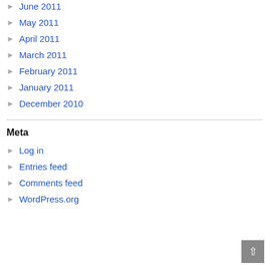June 2011
May 2011
April 2011
March 2011
February 2011
January 2011
December 2010
Meta
Log in
Entries feed
Comments feed
WordPress.org